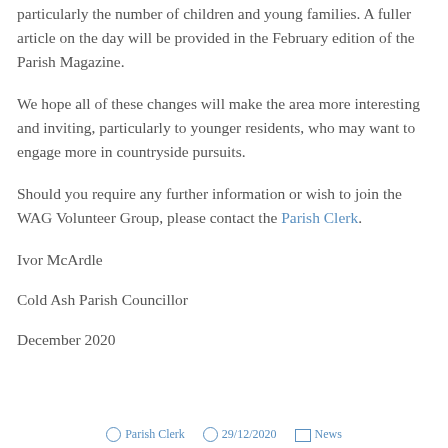particularly the number of children and young families. A fuller article on the day will be provided in the February edition of the Parish Magazine.
We hope all of these changes will make the area more interesting and inviting, particularly to younger residents, who may want to engage more in countryside pursuits.
Should you require any further information or wish to join the WAG Volunteer Group, please contact the Parish Clerk.
Ivor McArdle
Cold Ash Parish Councillor
December 2020
Parish Clerk   29/12/2020   News